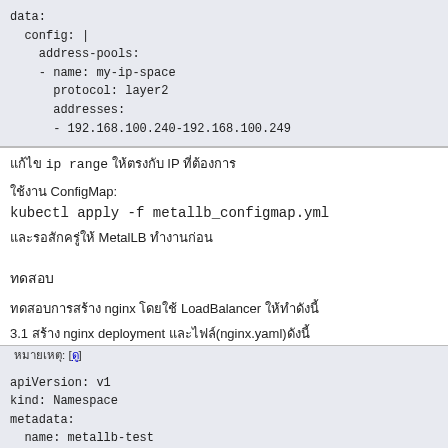data:
  config: |
    address-pools:
    - name: my-ip-space
      protocol: layer2
      addresses:
      - 192.168.100.240-192.168.100.249
แก้ไข ip range ให้ตรงกับ IP ที่ต้องการ
ใช้งาน ConfigMap:
kubectl apply -f metallb_configmap.yml
และรอสักครู่ให้ MetalLB ทำงานก่อน
ทดสอบ
ทดสอบการสร้าง nginx โดยใช้ LoadBalancer ให้ทำดังนี้
3.1 สร้าง nginx deployment และไฟล์(nginx.yaml)ดังนี้
 หมายเหตุ: [ดู]
apiVersion: v1
kind: Namespace
metadata:
  name: metallb-test
  labels:
    app: metallb